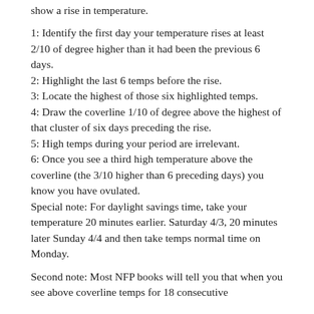show a rise in temperature.
1: Identify the first day your temperature rises at least 2/10 of degree higher than it had been the previous 6 days.
2: Highlight the last 6 temps before the rise.
3: Locate the highest of those six highlighted temps.
4: Draw the coverline 1/10 of degree above the highest of that cluster of six days preceding the rise.
5: High temps during your period are irrelevant.
6: Once you see a third high temperature above the coverline (the 3/10 higher than 6 preceding days) you know you have ovulated.
Special note: For daylight savings time, take your temperature 20 minutes earlier. Saturday 4/3, 20 minutes later Sunday 4/4 and then take temps normal time on Monday.
Second note: Most NFP books will tell you that when you see above coverline temps for 18 consecutive